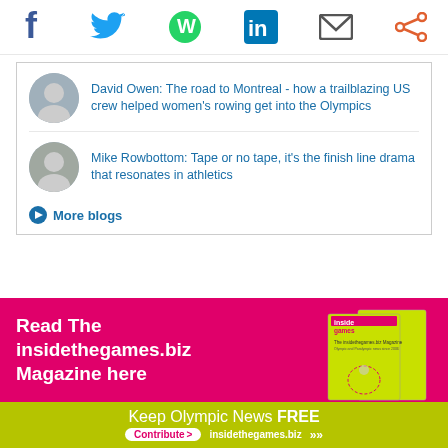[Figure (infographic): Social media share icons: Facebook, Twitter, WhatsApp, LinkedIn, Email, Share]
David Owen: The road to Montreal - how a trailblazing US crew helped women's rowing get into the Olympics
Mike Rowbottom: Tape or no tape, it's the finish line drama that resonates in athletics
More blogs
[Figure (infographic): Pink/magenta advertisement banner: Read The insidethegames.biz Magazine here, with magazine cover images]
[Figure (infographic): Yellow-green bottom banner: Keep Olympic News FREE - Contribute > insidethegames.biz >>]